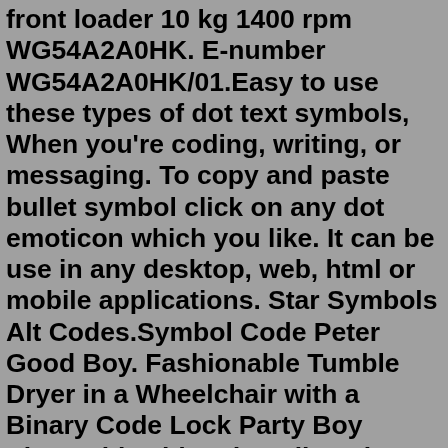front loader 10 kg 1400 rpm WG54A2A0HK. E-number WG54A2A0HK/01.Easy to use these types of dot text symbols, When you're coding, writing, or messaging. To copy and paste bullet symbol click on any dot emoticon which you like. It can be use in any desktop, web, html or mobile applications. Star Symbols Alt Codes.Symbol Code Peter Good Boy. Fashionable Tumble Dryer in a Wheelchair with a Binary Code Lock Party Boy Sings.This video describes the troubleshooting procedure of malfunctioning IQ700 Tumble dryer. Please use CAUTION while repairing electrical appliances. Do not sta... 011 219 722 5. Perfectfix Appliance Repairs – The Areas We Cover in Johannesburg. You can use us for oven, tumble dyer and washing machine dishwasher repair all Johannesburg including Randburg, Fourways, Sandton, and Krugersdroop and more. Oct 11, 2020 · Siemens washing machines are designed for performance and energy-efficiency. With state-of-the-art technology, innovative functions provide precision detergent dispensing systems, a